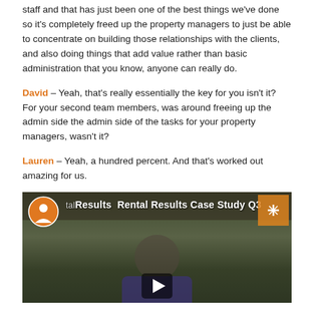staff and that has just been one of the best things we've done so it's completely freed up the property managers to just be able to concentrate on building those relationships with the clients, and also doing things that add value rather than basic administration that you know, anyone can really do.
David – Yeah, that's really essentially the key for you isn't it? For your second team members, was around freeing up the admin side the admin side of the tasks for your property managers, wasn't it?
Lauren – Yeah, a hundred percent. And that's worked out amazing for us.
[Figure (screenshot): Video thumbnail for 'Rental Results Case Study Q3' showing a man in a purple shirt with the Rental Results logo and orange play button overlay]